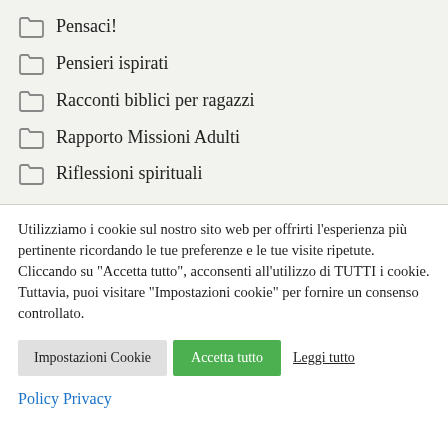Pensaci!
Pensieri ispirati
Racconti biblici per ragazzi
Rapporto Missioni Adulti
Riflessioni spirituali
Utilizziamo i cookie sul nostro sito web per offrirti l'esperienza più pertinente ricordando le tue preferenze e le tue visite ripetute. Cliccando su "Accetta tutto", acconsenti all'utilizzo di TUTTI i cookie. Tuttavia, puoi visitare "Impostazioni cookie" per fornire un consenso controllato.
Impostazioni Cookie | Accetta tutto | Leggi tutto
Policy Privacy